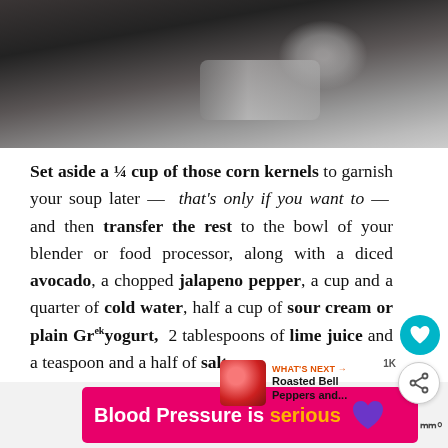[Figure (photo): Close-up photo of a blender or food processor with dark metal parts, blurred background]
Set aside a ¼ cup of those corn kernels to garnish your soup later — that's only if you want to — and then transfer the rest to the bowl of your blender or food processor, along with a diced avocado, a chopped jalapeno pepper, a cup and a quarter of cold water, half a cup of sour cream or plain Greek yogurt, 2 tablespoons of lime juice and a teaspoon and a half of salt.
[Figure (infographic): Ad banner: Blood Pressure is serious with purple heart icon]
[Figure (infographic): What's Next panel: Roasted Bell Peppers and...]